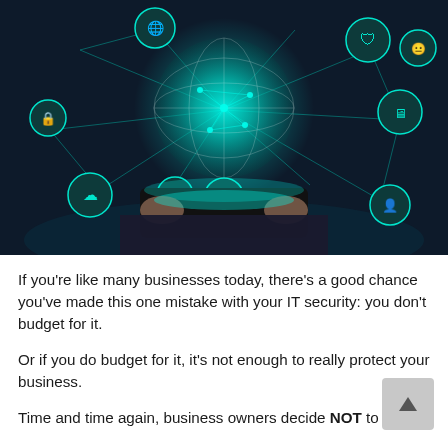[Figure (photo): A person in a dark suit holding a tablet device, from which a glowing teal holographic globe and network of cybersecurity icons (shield, cloud, lock, wifi, globe, server, etc.) emanate on a dark background.]
If you’re like many businesses today, there’s a good chance you’ve made this one mistake with your IT security: you don’t budget for it.
Or if you do budget for it, it’s not enough to really protect your business.
Time and time again, business owners decide NOT to invest